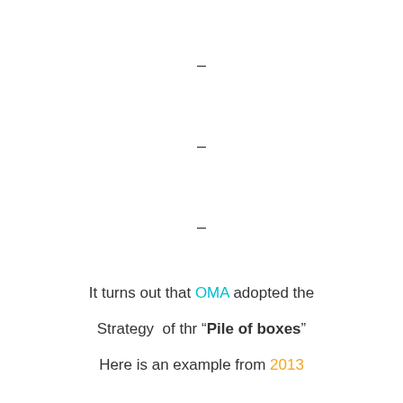–
–
–
It turns out that OMA adopted the
Strategy  of thr “Pile of boxes”
Here is an example from 2013
The Interlace Apartments
Designed by OMA, Ole Scheeren
Singapore
–